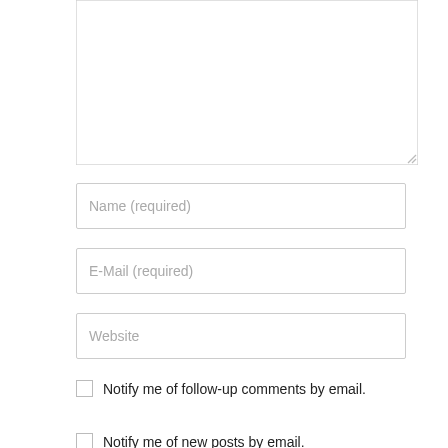[Figure (screenshot): Textarea input field (empty, with resize handle at bottom right)]
Name (required)
E-Mail (required)
Website
Notify me of follow-up comments by email.
Notify me of new posts by email.